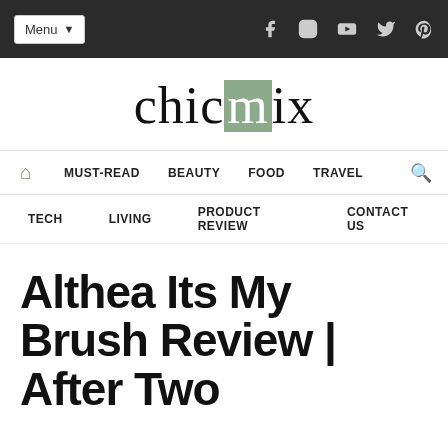Menu | social icons: Facebook, Instagram, YouTube, Twitter, Pinterest
[Figure (logo): chicmix logo in cursive handwriting with the letter m in a green/sage box]
Navigation: Home | MUST-READ | BEAUTY | FOOD | TRAVEL | Search
Secondary navigation: TECH | LIVING | PRODUCT REVIEW | CONTACT US
Althea Its My Brush Review | After Two